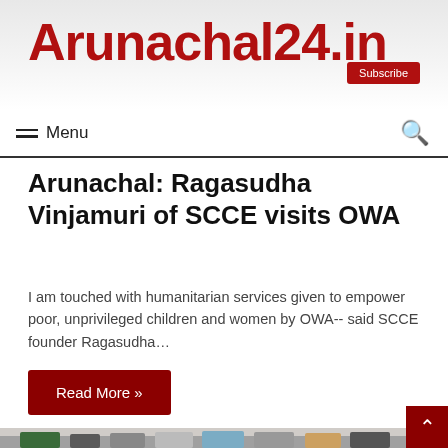Arunachal24.in
Menu
Arunachal: Ragasudha Vinjamuri of SCCE visits OWA
I am touched with humanitarian services given to empower poor, unprivileged children and women by OWA-- said SCCE founder Ragasudha…
Read More »
[Figure (photo): Group of people including children and adults gathered in an indoor setting, some wearing traditional attire]